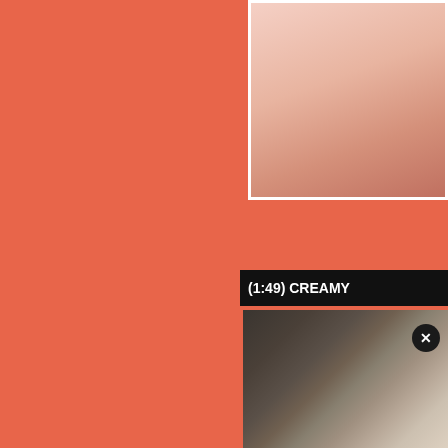[Figure (photo): Partial close-up photo on orange background, upper right area]
(1:49) CREAMY
[Figure (photo): Close-up dark textured photo with X close button overlay, lower right area]